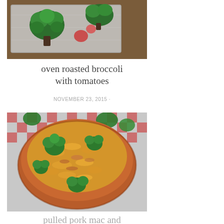[Figure (photo): Oven roasted broccoli with tomatoes on a foil-lined baking pan, viewed from above]
oven roasted broccoli with tomatoes
NOVEMBER 23, 2015 ·
[Figure (photo): Bowl of pulled pork mac and cheese with broccoli florets in an orange bowl on a red checkered tablecloth]
pulled pork mac and cheese